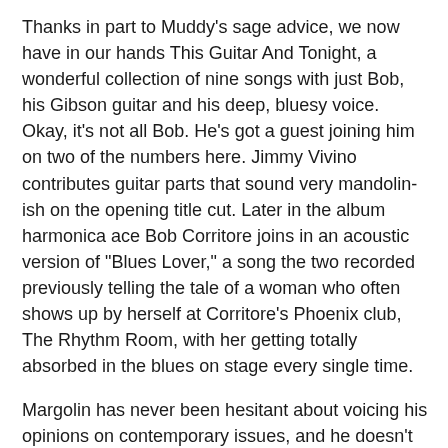Thanks in part to Muddy's sage advice, we now have in our hands This Guitar And Tonight, a wonderful collection of nine songs with just Bob, his Gibson guitar and his deep, bluesy voice. Okay, it's not all Bob. He's got a guest joining him on two of the numbers here. Jimmy Vivino contributes guitar parts that sound very mandolin-ish on the opening title cut. Later in the album harmonica ace Bob Corritore joins in an acoustic version of "Blues Lover," a song the two recorded previously telling the tale of a woman who often shows up by herself at Corritore's Phoenix club, The Rhythm Room, with her getting totally absorbed in the blues on stage every single time.
Margolin has never been hesitant about voicing his opinions on contemporary issues, and he doesn't sugarcoat his thoughts here. On "Evil Walks  In Our World," he sings about what he considers the bad things in our society today --- "fake politicians," "keeping kids in cages" and more, before reminding us to "care for the sick" and "care for the old." Right on, Bob! His rants are accentuated with killer slide guitar. Nothing matches the eight-minute spoken blues, "Predator," on which he talks about John F. Kennedy's legacy as well as the time Bob performed at the White House with Muddy during the